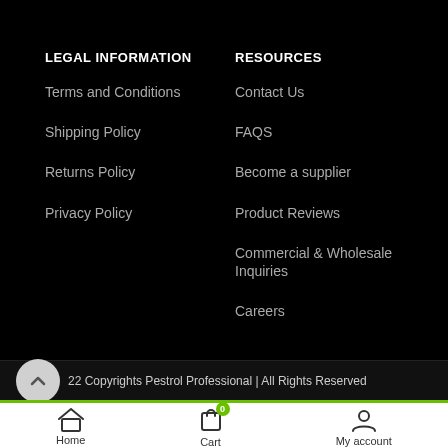LEGAL INFORMATION
Terms and Conditions
Shipping Policy
Returns Policy
Privacy Policy
RESOURCES
Contact Us
FAQS
Become a supplier
Product Reviews
Commercial & Wholesale Inquiries
Careers
© 2022 Copyrights Pestrol Professional | All Rights Reserved
Home
Cart
My account